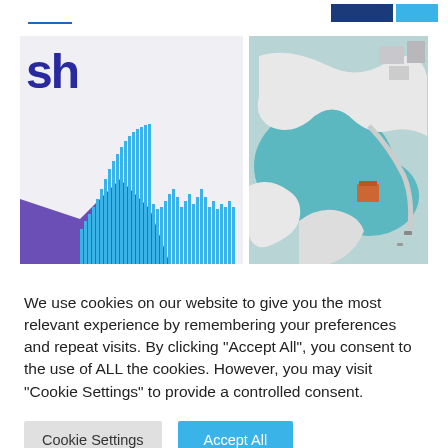[Figure (screenshot): Website header with dark blue and light blue buttons and a blue underline accent]
[Figure (illustration): Left panel: partial text 'sh' in purple/blue bold font with a bar chart visualization below showing blue vertical bars of varying heights and a purple triangle shape]
[Figure (photo): Right panel: aerial photograph of a coastal development with a teal/blue lagoon, white land forms, and buildings including an orange structure]
We use cookies on our website to give you the most relevant experience by remembering your preferences and repeat visits. By clicking "Accept All", you consent to the use of ALL the cookies. However, you may visit "Cookie Settings" to provide a controlled consent.
Cookie Settings
Accept All